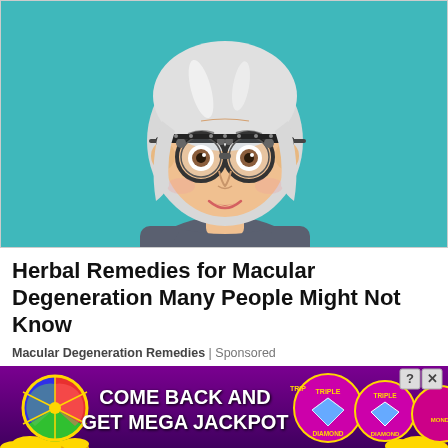[Figure (illustration): Cartoon illustration of an elderly woman with white/silver bob haircut wearing optician trial frame glasses, smiling, with a teal/turquoise background. She is wearing a dark blue-grey shirt.]
Herbal Remedies for Macular Degeneration Many People Might Not Know
Macular Degeneration Remedies | Sponsored
[Figure (infographic): Casino-themed advertisement banner with purple background showing a colorful prize wheel on the left, golden coins at the bottom, Triple Diamond slot machine graphics on the right, and the text 'COME BACK AND GET MEGA JACKPOT' in white bold letters in the center. Has close (X) and help (?) buttons in top right corner.]